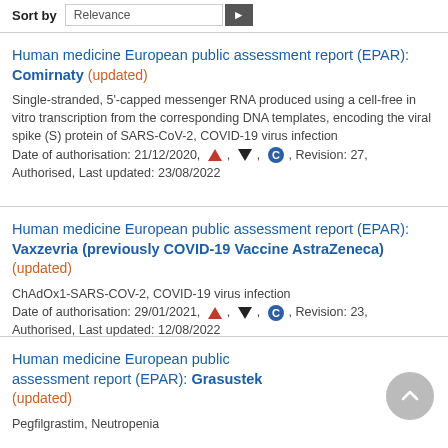Sort by  Relevance
Human medicine European public assessment report (EPAR): Comirnaty (updated)
Single-stranded, 5'-capped messenger RNA produced using a cell-free in vitro transcription from the corresponding DNA templates, encoding the viral spike (S) protein of SARS-CoV-2, COVID-19 virus infection
Date of authorisation: 21/12/2020, [triangle], [arrow], [C], Revision: 27, Authorised, Last updated: 23/08/2022
Human medicine European public assessment report (EPAR): Vaxzevria (previously COVID-19 Vaccine AstraZeneca) (updated)
ChAdOx1-SARS-COV-2, COVID-19 virus infection
Date of authorisation: 29/01/2021, [triangle], [arrow], [C], Revision: 23, Authorised, Last updated: 12/08/2022
Human medicine European public assessment report (EPAR): Grasustek (updated)
Pegfilgrastim, Neutropenia